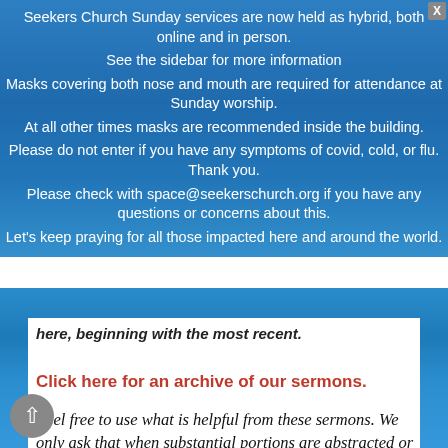Seekers Church Sunday services are now held as hybrid, both online and in person.
See the sidebar for more information
Masks covering both nose and mouth are required for attendance at Sunday worship.
At all other times masks are recommended inside the building.
Please do not enter if you have any symptoms of covid, cold, or flu. Thank you.
Please check with space@seekerschurch.org if you have any questions or concerns about this.
Let's keep praying for all those impacted here and around the world.
here, beginning with the most recent.
Click here for an archive of our sermons.
Feel free to use what is helpful from these sermons. We only ask that when substantial portions are abstracted or used in a written work, please credit Seekers Church and the author, and cite the URI.